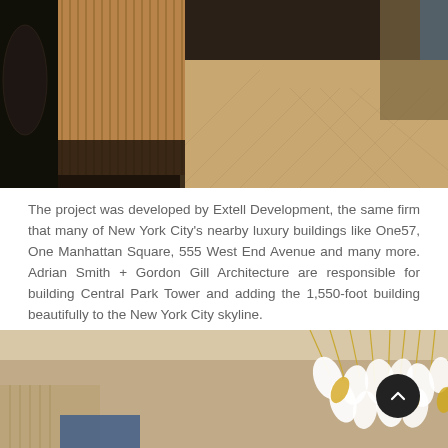[Figure (photo): Interior photo of a room featuring vertical wood slat wall panels and herringbone wood floor, dark accents visible on left]
The project was developed by Extell Development, the same firm that many of New York City's nearby luxury buildings like One57, One Manhattan Square, 555 West End Avenue and many more. Adrian Smith + Gordon Gill Architecture are responsible for building Central Park Tower and adding the 1,550-foot building beautifully to the New York City skyline.
[Figure (photo): Interior photo of a lobby or amenity space with decorative chandelier featuring white leaf/petal shapes and gold stems, soft beige walls and ceiling]